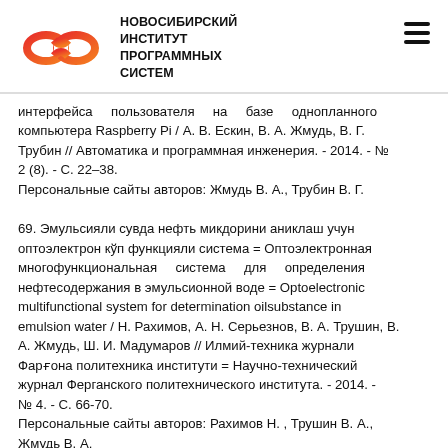НОВОСИБИРСКИЙ ИНСТИТУТ ПРОГРАММНЫХ СИСТЕМ
интерфейса пользователя на базе однопланного компьютера Raspberry Pi / А. В. Ескин, В. А. Жмудь, В. Г. Трубин // Автоматика и программная инженерия. - 2014. - № 2 (8). - С. 22–38.
Персональные сайты авторов: Жмудь В. А., Трубин В. Г.
69. Эмульсияли сувда нефть микдорини аниклаш учун оптоэлектрон кўп функцияли система = Оптоэлектронная многофункциональная система для определения нефтесодержания в эмульсионной воде = Optoelectronic multifunctional system for determination oilsubstance in emulsion water / Н. Рахимов, А. Н. Серьезнов, В. А. Трушин, В. А. Жмудь, Ш. И. Мадумаров // Илмий-техника журнали Фарғона политехника институти = Научно-технический журнал Ферганского политехнического института. - 2014. - № 4. - С. 66-70.
Персональные сайты авторов: Рахимов Н. , Трушин В. А., Жмудь В. А.
70. Жмуль В. А. Энергосберегающие регуляторы для